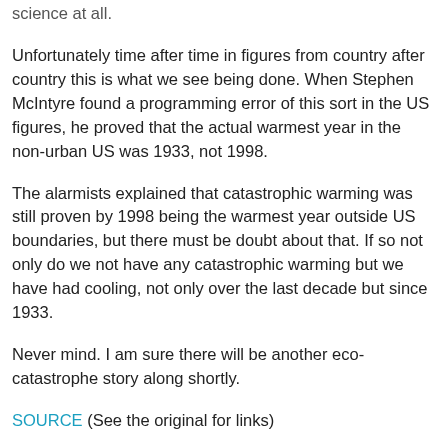science at all.
Unfortunately time after time in figures from country after country this is what we see being done. When Stephen McIntyre found a programming error of this sort in the US figures, he proved that the actual warmest year in the non-urban US was 1933, not 1998.
The alarmists explained that catastrophic warming was still proven by 1998 being the warmest year outside US boundaries, but there must be doubt about that. If so not only do we not have any catastrophic warming but we have had cooling, not only over the last decade but since 1933.
Never mind. I am sure there will be another eco-catastrophe story along shortly.
SOURCE (See the original for links)